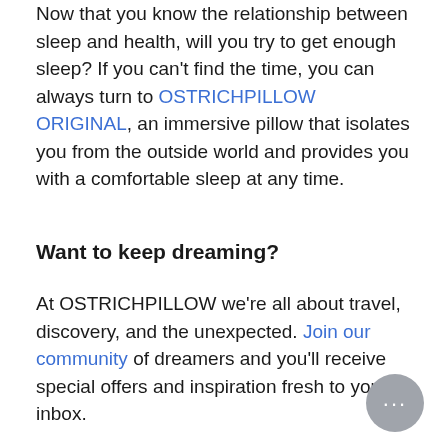Now that you know the relationship between sleep and health, will you try to get enough sleep? If you can't find the time, you can always turn to OSTRICHPILLOW ORIGINAL, an immersive pillow that isolates you from the outside world and provides you with a comfortable sleep at any time.
Want to keep dreaming?
At OSTRICHPILLOW we're all about travel, discovery, and the unexpected. Join our community of dreamers and you'll receive special offers and inspiration fresh to your inbox.